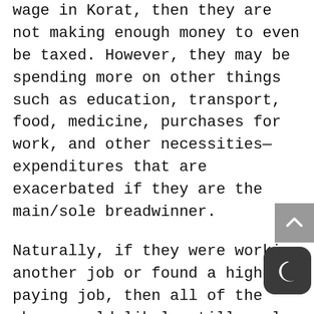wage in Korat, then they are not making enough money to even be taxed. However, they may be spending more on other things such as education, transport, food, medicine, purchases for work, and other necessities— expenditures that are exacerbated if they are the main/sole breadwinner.
Naturally, if they were working another job or found a higher paying job, then all of the above would likely still apply, however, now they also must pay taxes. This indicates that for those of us living in nice homes in cities like Bangkok, we are oxymoronically fortunate to be complaining about taxation, but we cannot forget that the way we should judge our society is by the way we treat our poorest, and the downtrodden of Thailand deserve our support. Hence, we must